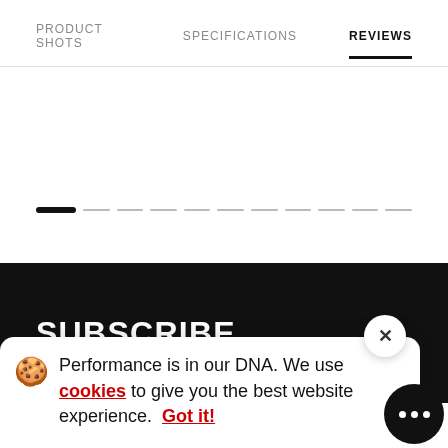PRODUCT SHOTS   SPECIFICATIONS   REVIEWS
[Figure (other): Pagination dots row with one active black pill and multiple grey dashes]
SUBSCRIBE
Performance is in our DNA. We use cookies to give you the best website experience. Got it!